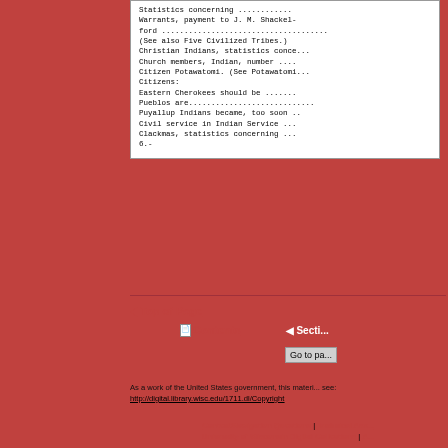Statistics concerning ............
Warrants, payment to J. M. Shackel-
ford .................................
(See also Five Civilized Tribes.)
Christian Indians, statistics conce...
Church members, Indian, number ....
Citizen Potawatomi. (See Potawatomi...
Citizens:
Eastern Cherokees should be .......
Pueblos are............................
Puyallup Indians became, too soon ..
Civil service in Indian Service ...
Clackmas, statistics concerning ...
6.-
▲ Top of Page
Contents
◄ Section...  Go to pa...
As a work of the United States government, this material is in the public domain. For details, see: http://digital.library.wisc.edu/1711.dl/Copyright
Content/Navigation Questions | Technical Ass...
University of Wisconsin Digital Collections | A...